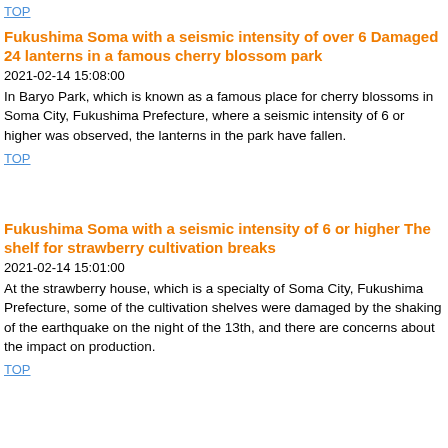TOP
Fukushima Soma with a seismic intensity of over 6 Damaged 24 lanterns in a famous cherry blossom park
2021-02-14 15:08:00
In Baryo Park, which is known as a famous place for cherry blossoms in Soma City, Fukushima Prefecture, where a seismic intensity of 6 or higher was observed, the lanterns in the park have fallen.
TOP
Fukushima Soma with a seismic intensity of 6 or higher The shelf for strawberry cultivation breaks
2021-02-14 15:01:00
At the strawberry house, which is a specialty of Soma City, Fukushima Prefecture, some of the cultivation shelves were damaged by the shaking of the earthquake on the night of the 13th, and there are concerns about the impact on production.
TOP